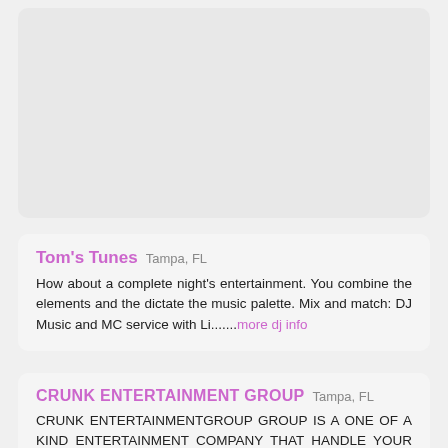[Figure (other): Gray placeholder card at top of page]
Tom's Tunes  Tampa, FL
How about a complete night's entertainment. You combine the elements and the dictate the music palette. Mix and match: DJ Music and MC service with Li.......more dj info
CRUNK ENTERTAINMENT GROUP  Tampa, FL
CRUNK ENTERTAINMENTGROUP GROUP IS A ONE OF A KIND ENTERTAINMENT COMPANY THAT HANDLE YOUR ENTERTAINMENT NEEDS AS,DISC JOCKEY,PROMOTION, & TALNET BGOOKI.......more dj info